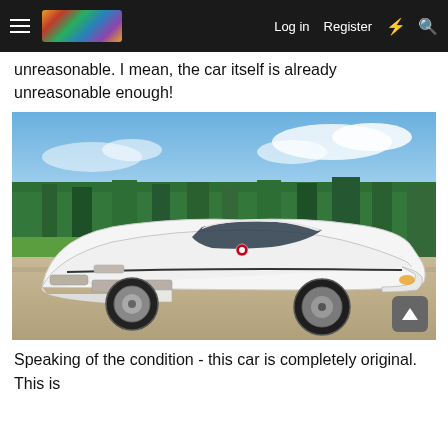Log in  Register
unreasonable. I mean, the car itself is already unreasonable enough!
[Figure (photo): White Chevrolet Corvette C4 sports car parked on a gravel surface in front of a green tree line under a partly cloudy blue sky.]
Speaking of the condition - this car is completely original. This is